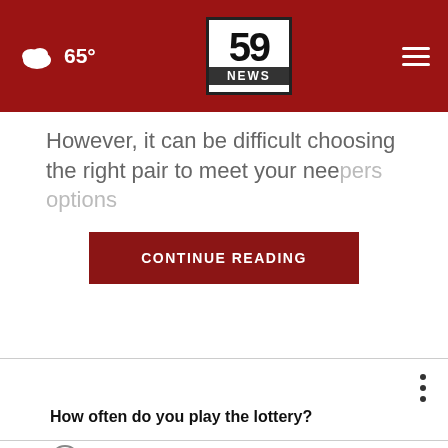65° | 59 NEWS
However, it can be difficult choosing the right pair to meet your nee...pers options
CONTINUE READING
How often do you play the lottery?
Very often
Somewhat often
Not that often
Not often at all
Other / Does not apply